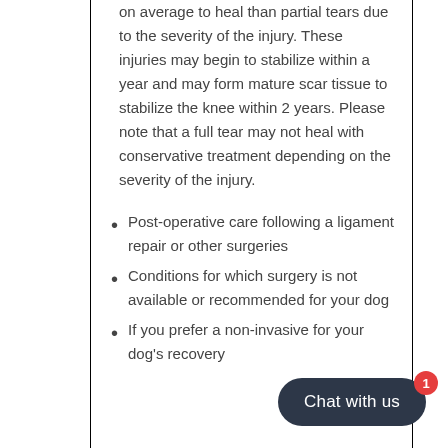on average to heal than partial tears due to the severity of the injury. These injuries may begin to stabilize within a year and may form mature scar tissue to stabilize the knee within 2 years. Please note that a full tear may not heal with conservative treatment depending on the severity of the injury.
Post-operative care following a ligament repair or other surgeries
Conditions for which surgery is not available or recommended for your dog
If you prefer a non-invasive for your dog's recovery